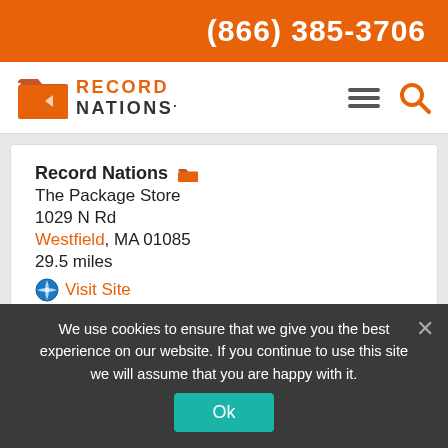(866) 385-3706
[Figure (logo): Record Nations logo with orange folder icon and orange/black text]
Record Nations
The Package Store
1029 N Rd
Westfield, MA 01085
29.5 miles
Visit Site
Record Nations
Sir Speedy
We use cookies to ensure that we give you the best experience on our website. If you continue to use this site we will assume that you are happy with it.
Ok